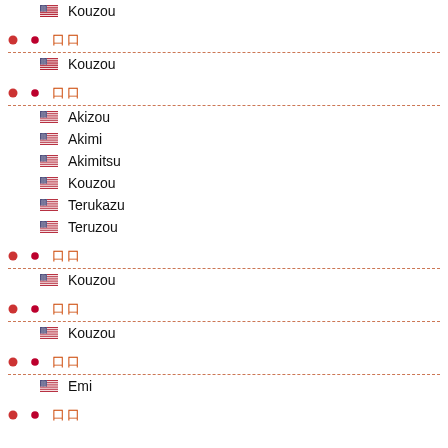Kouzou
□□ / Kouzou
□□ / Akizou, Akimi, Akimitsu, Kouzou, Terukazu, Teruzou
□□ / Kouzou
□□ / Kouzou
□□ / Emi
□□